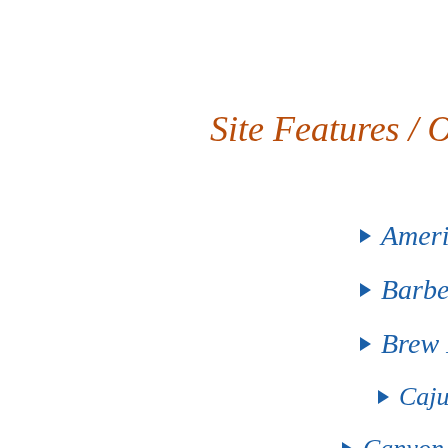Site Features / Our Me
American
Barbecue
Brew Pubs
Cajun
Canyon Dining
Chinese